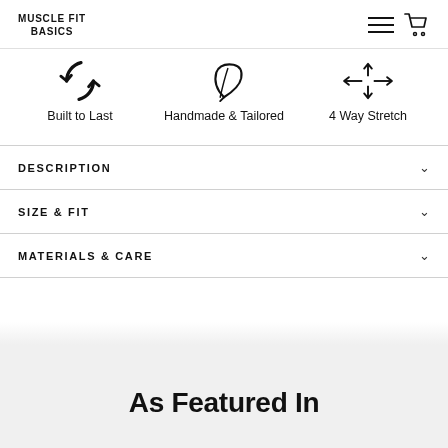MUSCLE FIT BASICS
[Figure (illustration): Three icons: a circular arrow (Built to Last), a feather/pen (Handmade & Tailored), and a four-way stretch arrows icon (4 Way Stretch)]
Built to Last
Handmade & Tailored
4 Way Stretch
DESCRIPTION
SIZE & FIT
MATERIALS & CARE
As Featured In